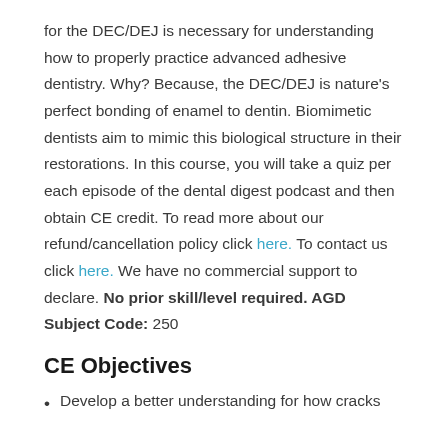for the DEC/DEJ is necessary for understanding how to properly practice advanced adhesive dentistry. Why? Because, the DEC/DEJ is nature's perfect bonding of enamel to dentin. Biomimetic dentists aim to mimic this biological structure in their restorations. In this course, you will take a quiz per each episode of the dental digest podcast and then obtain CE credit. To read more about our refund/cancellation policy click here. To contact us click here. We have no commercial support to declare. No prior skill/level required. AGD Subject Code: 250
CE Objectives
Develop a better understanding for how cracks